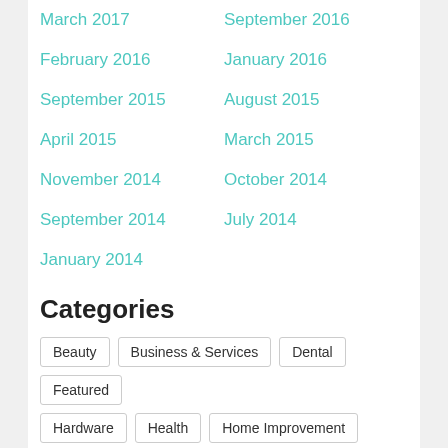March 2017
September 2016
February 2016
January 2016
September 2015
August 2015
April 2015
March 2015
November 2014
October 2014
September 2014
July 2014
January 2014
Categories
Beauty
Business & Services
Dental
Featured
Hardware
Health
Home Improvement
Industrial
Latest News
Legal
Manufacturing